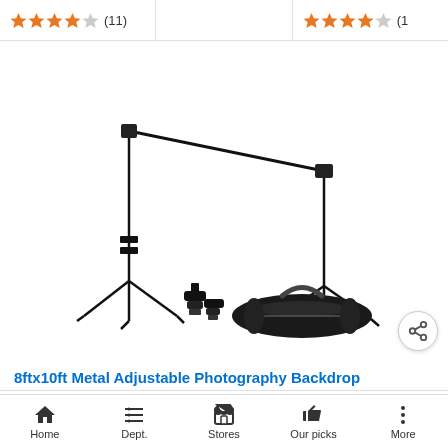[Figure (other): Top bar with star ratings and review counts for products. Left cell: 4 filled stars, 1 empty star, (11). Middle cell: empty. Right cell: 4 filled stars, 1 empty star, (1...).]
[Figure (photo): Product photo of a 8ftx10ft Metal Adjustable Photography Backdrop Stand system with two tripod stands, a horizontal crossbar, two clamps, and a black carrying bag, all in black, on white background. A share icon button appears in the bottom right.]
8ftx10ft Metal Adjustable Photography Backdrop
Home | Dept. | Stores | Our picks | More